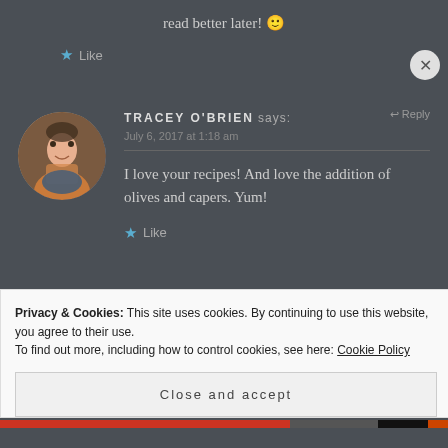read better later! 🙂
★ Like
[Figure (photo): Circular avatar photo of a woman smiling, wearing a floral dress, seated at a restaurant table with a plate of food]
TRACEY O'BRIEN says: ↩ Reply
July 6, 2017 at 1:18 am
I love your recipes! And love the addition of olives and capers. Yum!
★ Like
Privacy & Cookies: This site uses cookies. By continuing to use this website, you agree to their use.
To find out more, including how to control cookies, see here: Cookie Policy
Close and accept